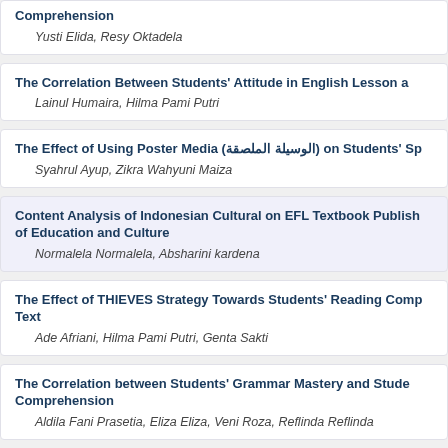Comprehension
Yusti Elida, Resy Oktadela
The Correlation Between Students' Attitude in English Lesson and…
Lainul Humaira, Hilma Pami Putri
The Effect of Using Poster Media (الوسيلة الملصقة) on Students' Sp…
Syahrul Ayup, Zikra Wahyuni Maiza
Content Analysis of Indonesian Cultural on EFL Textbook Publish… of Education and Culture
Normalela Normalela, Absharini kardena
The Effect of THIEVES Strategy Towards Students' Reading Comp… Text
Ade Afriani, Hilma Pami Putri, Genta Sakti
The Correlation between Students' Grammar Mastery and Stude… Comprehension
Aldila Fani Prasetia, Eliza Eliza, Veni Roza, Reflinda Reflinda
The Effectiveness of TED-ED Videos as Audiovisual Input in Listen…